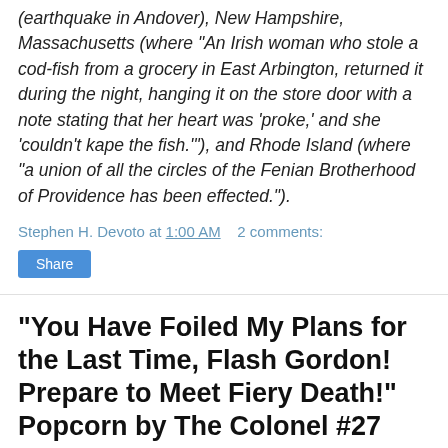(earthquake in Andover), New Hampshire, Massachusetts (where "An Irish woman who stole a cod-fish from a grocery in East Arbington, returned it during the night, hanging it on the store door with a note stating that her heart was 'proke,' and she 'couldn't kape the fish.'"), and Rhode Island (where "a union of all the circles of the Fenian Brotherhood of Providence has been effected.").
Stephen H. Devoto at 1:00 AM   2 comments:
Share
"You Have Foiled My Plans for the Last Time, Flash Gordon! Prepare to Meet Fiery Death!" Popcorn by The Colonel #27
Epigraph: "Mt. Everest has never been climbed by a person wearing a wig or a toupee." --Sir Harry O. Triggerman